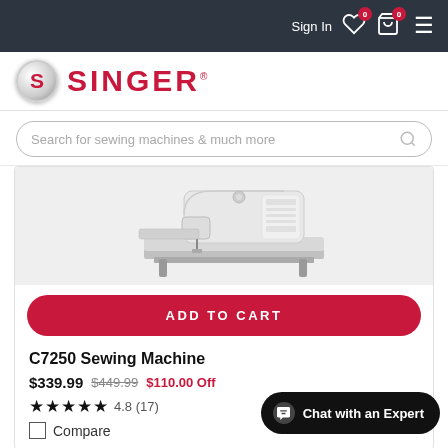Sign In  0  0
[Figure (logo): Singer logo with red S circle and SINGER red text]
Search for sewing machines & much more
[Figure (photo): Singer C7250 sewing machine, white, partially cropped, shown from front-right angle on gray background]
ADD TO CART
C7250 Sewing Machine
$339.99  $449.99  $110.00 Off
★★★★★ 4.8 (17)
Compare
Chat with an Expert